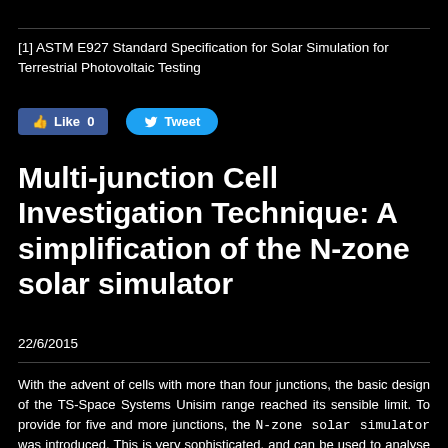[1] ASTM E927 Standard Specification for Solar Simulation for Terrestrial Photovoltaic Testing
[Figure (other): Facebook Like button (blue, count: 0) and Twitter Tweet button (light blue)]
Multi-junction Cell Investigation Technique: A simplification of the N-zone solar simulator
22/6/2015
With the advent of cells with more than four junctions, the basic design of the TS-Space Systems Unisim range reached its sensible limit. To provide for five and more junctions, the N-zone solar simulator was introduced. This is very sophisticated, and can be used to analyse cells with up to twelve junctions with out the adjustment of any one